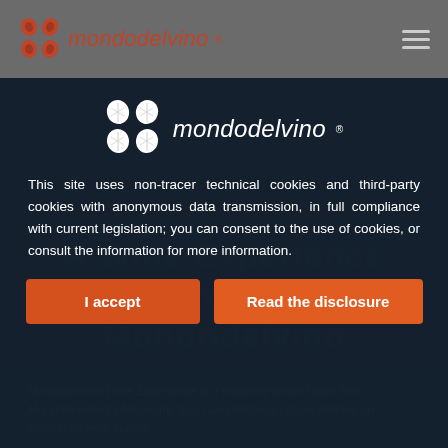[Figure (logo): Mondodelvino logo with grape leaf icons and brand name in top navigation bar]
[Figure (logo): Mondodelvino white logo with grape leaf icons inside cookie consent modal]
This site uses non-tracer technical cookies and third-party cookies with anonymous data transmission, in full compliance with current legislation; you can consent to the use of cookies, or consult the information for more information.
I accept
Read the disclosure
Mondodelvino Wine Experience is a visionary project born from Mondodelvino's philosophy. Such an ambitious project defines an innovative wine culture...